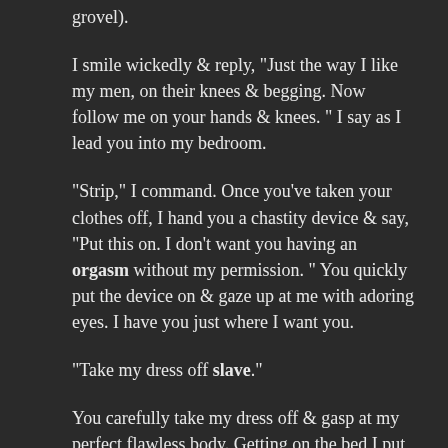grovel).
I smile wickedly & reply, "Just the way I like my men, on their knees & begging. Now follow me on your hands & knees. " I say as I lead you into my bedroom.
"Strip," I command. Once you've taken your clothes off, I hand you a chastity device & say, "Put this on.  I don't want you having an orgasm without my permission. " You quickly put the device on & gaze up at me with adoring eyes.  I have you just where I want you.
"Take my dress off slave."
You carefully take my dress off  & gasp at my perfect flawless body. Getting on the bed I put some pillows under my head. "Now start at my feet & worship your Mistress," I command. I stretch out my perfectly manicured toes. Painted candy apple red. My curves also